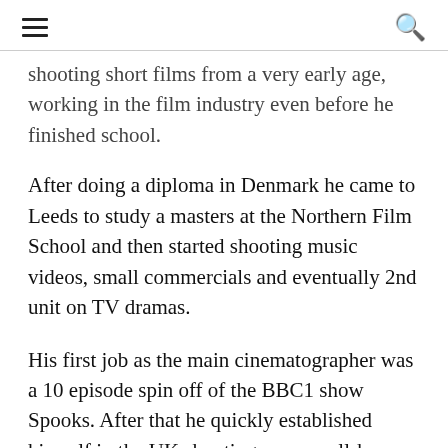[hamburger menu] [search icon]
shooting short films from a very early age, working in the film industry even before he finished school.
After doing a diploma in Denmark he came to Leeds to study a masters at the Northern Film School and then started shooting music videos, small commercials and eventually 2nd unit on TV dramas.
His first job as the main cinematographer was a 10 episode spin off of the BBC1 show Spooks. After that he quickly established himself in the UK shooting many well-known prime time dramas.
With the 2nd season of Sherlock he was…